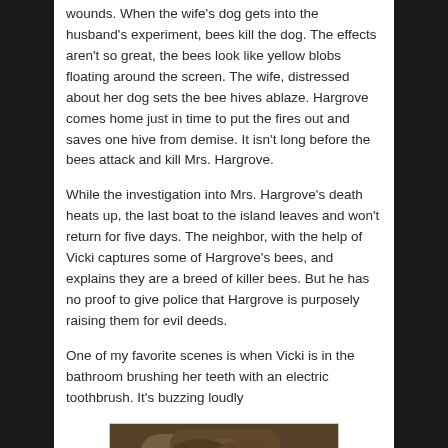wounds. When the wife's dog gets into the husband's experiment, bees kill the dog. The effects aren't so great, the bees look like yellow blobs floating around the screen. The wife, distressed about her dog sets the bee hives ablaze. Hargrove comes home just in time to put the fires out and saves one hive from demise. It isn't long before the bees attack and kill Mrs. Hargrove.
While the investigation into Mrs. Hargrove's death heats up, the last boat to the island leaves and won't return for five days. The neighbor, with the help of Vicki captures some of Hargrove's bees, and explains they are a breed of killer bees. But he has no proof to give police that Hargrove is purposely raising them for evil deeds.
One of my favorite scenes is when Vicki is in the bathroom brushing her teeth with an electric toothbrush. It's buzzing loudly
[Figure (photo): A close-up photo of a furry animal, appears to be a dog or cat with brown and dark fur, partially visible.]